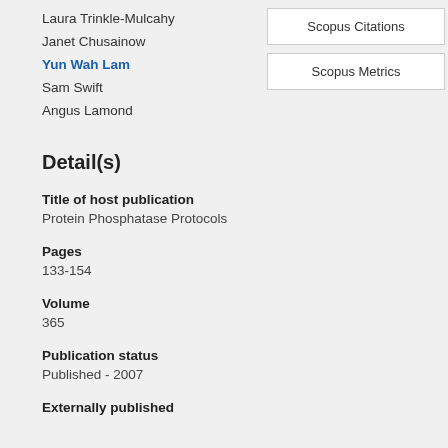Laura Trinkle-Mulcahy
Janet Chusainow
Yun Wah Lam
Sam Swift
Angus Lamond
Scopus Citations
Scopus Metrics
Detail(s)
Title of host publication
Protein Phosphatase Protocols
Pages
133-154
Volume
365
Publication status
Published - 2007
Externally published